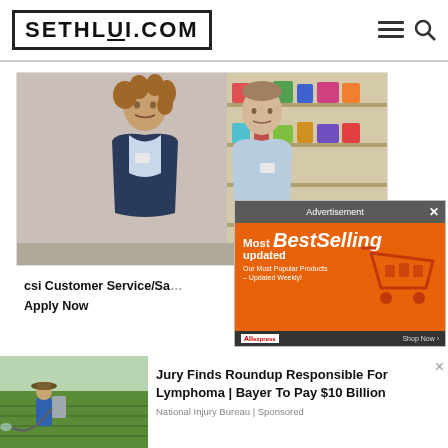SETHLUI.COM
[Figure (photo): Two retail/supermarket workers in uniform standing in a grocery store aisle]
csi Customer Service/Sa... Apply Now
[Figure (infographic): AliExpress advertisement banner: Most Best Selling updated - Our Most Popular Products - Updated Weekly. Shop Now button.]
[Figure (photo): Person in field spraying pesticide with backpack sprayer, wearing hat]
Jury Finds Roundup Responsible For Lymphoma | Bayer To Pay $10 Billion
National Injury Bureau | Sponsored